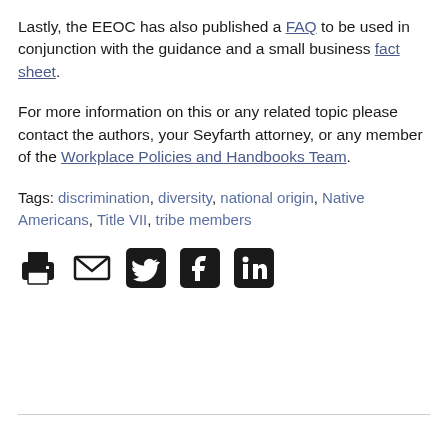Lastly, the EEOC has also published a FAQ to be used in conjunction with the guidance and a small business fact sheet.
For more information on this or any related topic please contact the authors, your Seyfarth attorney, or any member of the Workplace Policies and Handbooks Team.
Tags: discrimination, diversity, national origin, Native Americans, Title VII, tribe members
[Figure (infographic): Social sharing icons: print, email, Twitter, Facebook, LinkedIn]